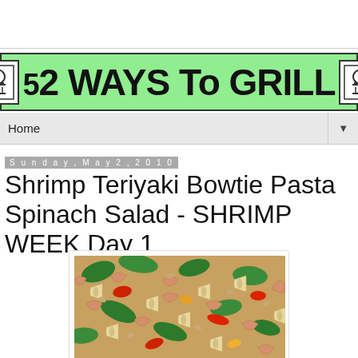[Figure (logo): 52 Ways To Grill banner with chef hat icons on green background]
Home
Sunday, May 2, 2010
Shrimp Teriyaki Bowtie Pasta Spinach Salad - SHRIMP WEEK Day 1
[Figure (photo): Close-up photo of shrimp teriyaki bowtie pasta spinach salad with red peppers, green spinach leaves, and bow-tie pasta]